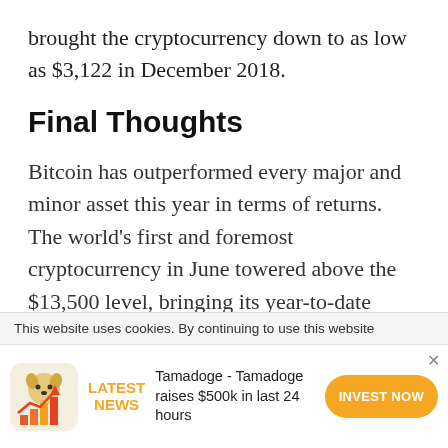brought the cryptocurrency down to as low as $3,122 in December 2018.
Final Thoughts
Bitcoin has outperformed every major and minor asset this year in terms of returns. The world's first and foremost cryptocurrency in June towered above the $13,500 level, bringing its year-to-date return close to a whopping 275 percent. That happened after major financial firms like TD Ameritrade, Bakkt, and Fidelity Investments announced that they would
This website uses cookies. By continuing to use this website
[Figure (infographic): Ad banner: Tamadoge LATEST NEWS - Tamadoge raises $500k in last 24 hours with INVEST NOW button]